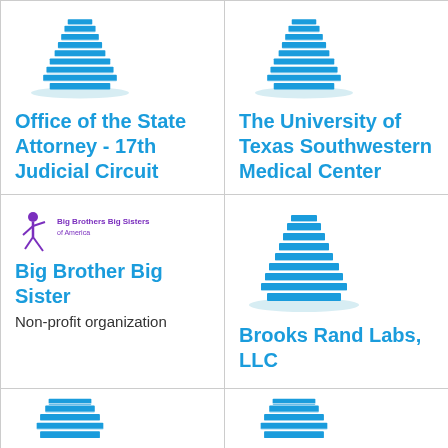[Figure (logo): Blue building icon for Office of the State Attorney]
Office of the State Attorney - 17th Judicial Circuit
[Figure (logo): Blue building icon for The University of Texas Southwestern Medical Center]
The University of Texas Southwestern Medical Center
[Figure (logo): Big Brothers Big Sisters of America logo with purple figure icon]
Big Brother Big Sister
Non-profit organization
[Figure (logo): Blue building icon for Brooks Rand Labs LLC]
Brooks Rand Labs, LLC
[Figure (logo): Partial blue building icon (row 3 left)]
[Figure (logo): Partial blue building icon (row 3 right)]